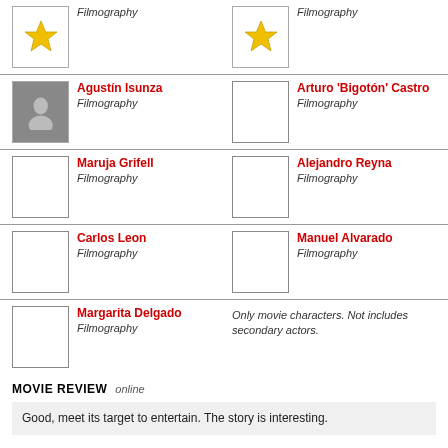[Figure (illustration): Gold star icon with filmography label]
Filmography
[Figure (illustration): Gold star icon with filmography label]
Filmography
[Figure (photo): Black and white photo of Agustín Isunza]
Agustín Isunza
Filmography
[Figure (illustration): Empty placeholder box]
Arturo 'Bigotón' Castro
Filmography
[Figure (illustration): Empty placeholder box]
Maruja Grifell
Filmography
[Figure (illustration): Empty placeholder box]
Alejandro Reyna
Filmography
[Figure (illustration): Empty placeholder box]
Carlos Leon
Filmography
[Figure (illustration): Empty placeholder box]
Manuel Alvarado
Filmography
[Figure (illustration): Empty placeholder box]
Margarita Delgado
Filmography
Only movie characters. Not includes secondary actors.
MOVIE REVIEW   online
Good, meet its target to entertain. The story is interesting.